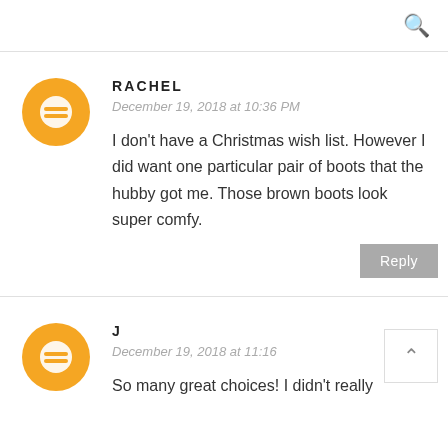🔍
RACHEL
December 19, 2018 at 10:36 PM
I don't have a Christmas wish list. However I did want one particular pair of boots that the hubby got me. Those brown boots look super comfy.
Reply
J
December 19, 2018 at 11:16
So many great choices! I didn't really